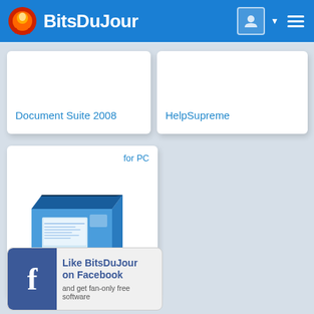BitsDuJour
Document Suite 2008
HelpSupreme
[Figure (photo): HelpNDoc software box product image, blue and yellow packaging]
for PC
HelpNDoc Standard Edition
Like BitsDuJour on Facebook
and get fan-only free software